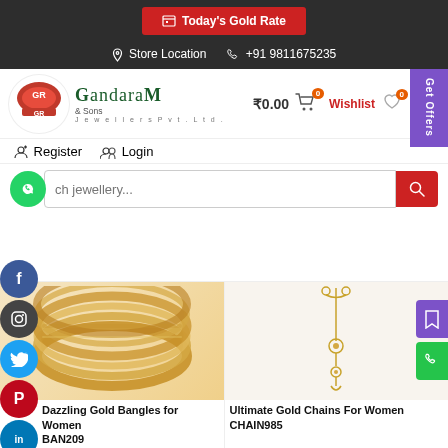Today's Gold Rate
Store Location   +91 9811675235
[Figure (logo): Gandaram & Sons Jewellers Pvt. Ltd. logo with red GR emblem]
₹0.00  0   Wishlist  0  →
Register   Login
ch jewellery... (search box)
[Figure (photo): Gold bangles set for women, ornate patterned gold bangles stacked]
[Figure (photo): Gold chain necklace for women with pendant]
Dazzling Gold Bangles for Women BAN209
Ultimate Gold Chains For Women CHAIN985